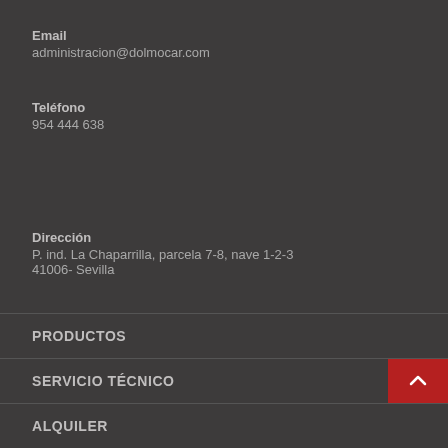Email
administracion@dolmocar.com
Teléfono
954 444 638
Dirección
P. ind. La Chaparrilla, parcela 7-8, nave 1-2-3
41006- Sevilla
PRODUCTOS
SERVICIO TÉCNICO
ALQUILER